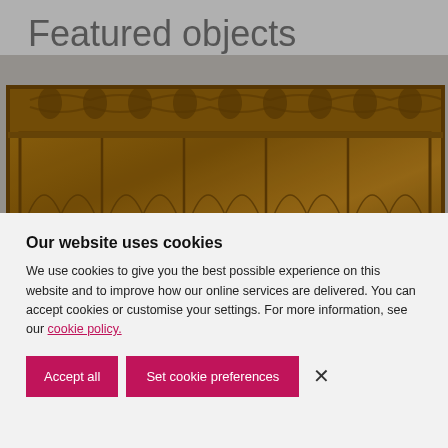Featured objects
[Figure (photo): Photograph of an antique carved wooden panel with decorative tracery and gothic motifs along the top frieze and panelled lower section]
Our website uses cookies
We use cookies to give you the best possible experience on this website and to improve how our online services are delivered. You can accept cookies or customise your settings. For more information, see our cookie policy.
Accept all  Set cookie preferences  ×